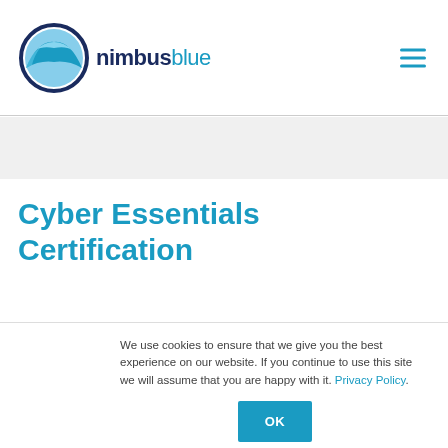[Figure (logo): Nimbus Blue logo: dark navy circle with light blue cloud/hill shape inside, followed by bold dark navy 'nimbus' and light blue 'blue' wordmark text]
Cyber Essentials Certification
We use cookies to ensure that we give you the best experience on our website. If you continue to use this site we will assume that you are happy with it. Privacy Policy.